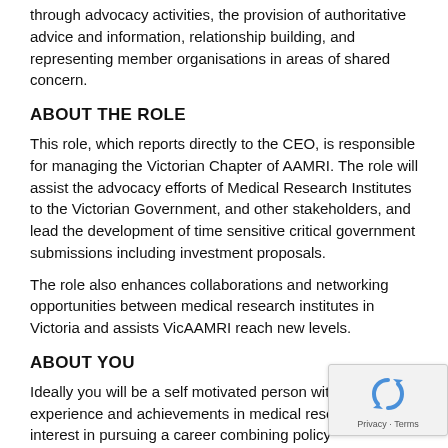through advocacy activities, the provision of authoritative advice and information, relationship building, and representing member organisations in areas of shared concern.
ABOUT THE ROLE
This role, which reports directly to the CEO, is responsible for managing the Victorian Chapter of AAMRI. The role will assist the advocacy efforts of Medical Research Institutes to the Victorian Government, and other stakeholders, and lead the development of time sensitive critical government submissions including investment proposals.
The role also enhances collaborations and networking opportunities between medical research institutes in Victoria and assists VicAAMRI reach new levels.
ABOUT YOU
Ideally you will be a self motivated person with education, experience and achievements in medical research and interest in pursuing a career combining policy development, government relations and project management.